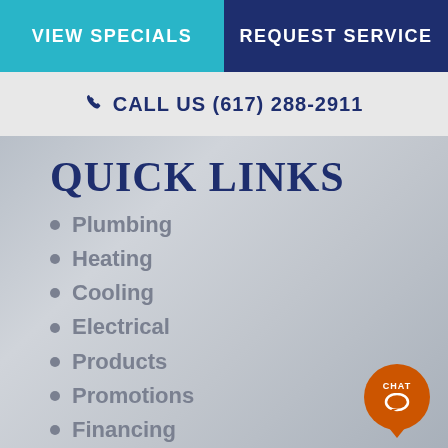VIEW SPECIALS
REQUEST SERVICE
CALL US (617) 288-2911
QUICK LINKS
Plumbing
Heating
Cooling
Electrical
Products
Promotions
Financing
Contact Us
[Figure (illustration): Orange chat bubble icon with CHAT label at bottom right]